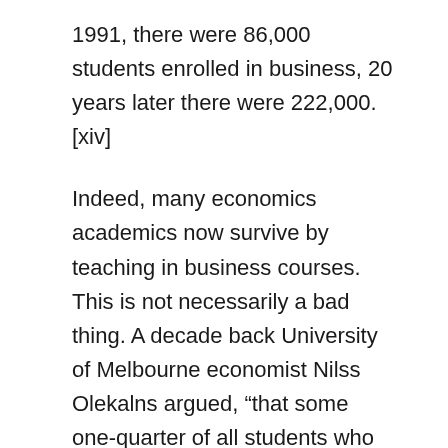1991, there were 86,000 students enrolled in business, 20 years later there were 222,000. [xiv]
Indeed, many economics academics now survive by teaching in business courses. This is not necessarily a bad thing. A decade back University of Melbourne economist Nilss Olekalns argued, “that some one-quarter of all students who undertake tertiary study in Australia receive instruction in the core areas of macroeconomics and microeconomics is a major achievement. One wonders whether any other discipline could claim something similar. ” [xv]
Good, but not good enough. As Professor Clarke